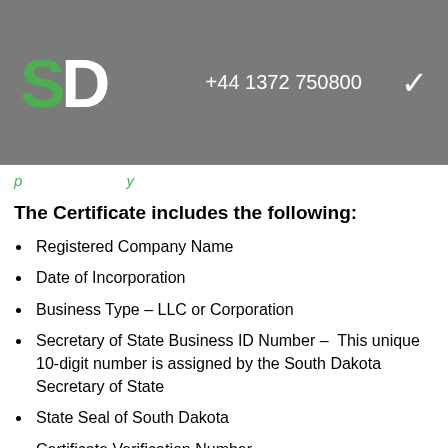SD  +44 1372 750800
p...y
The Certificate includes the following:
Registered Company Name
Date of Incorporation
Business Type – LLC or Corporation
Secretary of State Business ID Number –  This unique 10-digit number is assigned by the South Dakota Secretary of State
State Seal of South Dakota
Certificate Verification Number
It certifies the company has complied with laws of the State of South Dakota and is an existing corporation in Good Standing as shown by the